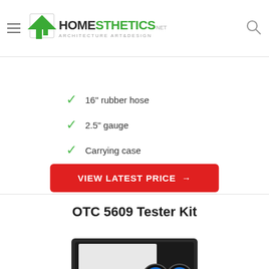HOMESTHETICS ARCHITECTURE ART&DESIGN
16" rubber hose
2.5" gauge
Carrying case
VIEW LATEST PRICE →
OTC 5609 Tester Kit
[Figure (photo): OTC 5609 Tester Kit product photo showing a black carrying case open with two blue-faced pressure gauges and hose fittings inside]